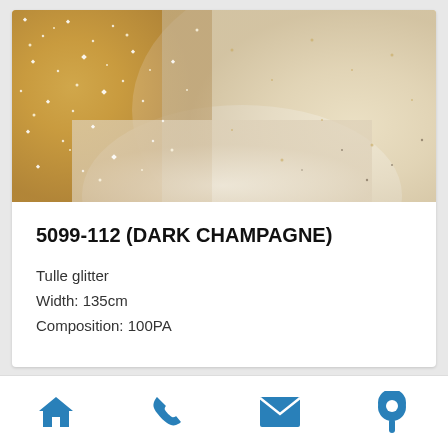[Figure (photo): Close-up photo of gold and cream/white glitter tulle fabric texture]
5099-112 (DARK CHAMPAGNE)
Tulle glitter
Width: 135cm
Composition: 100PA
Navigation bar with home, phone, email, and location icons